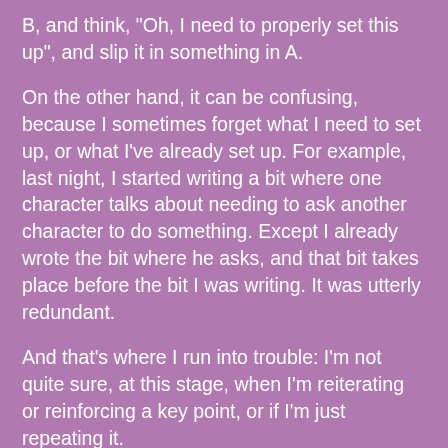B, and think, "Oh, I need to properly set this up", and slip it in something in A.
On the other hand, it can be confusing, because I sometimes forget what I need to set up, or what I've already set up.  For example, last night, I started writing a bit where one character talks about needing to ask another character to do something.  Except I already wrote the bit where he asks, and that bit takes place before the bit I was writing.  It was utterly redundant.
And that's where I run into trouble: I'm not quite sure, at this stage, when I'm reiterating or reinforcing a key point, or if I'm just repeating it.
Not to mention, I get confused about how my main character feels about certain characters at any given point.  She has a fair amount of trust in one character at B that she wants nothing to do with in A... and sometimes I screw that up and the trust retroactively bleeds into A.  Whoops.
It's a rough draft, of course, but it's shaping up to be a far